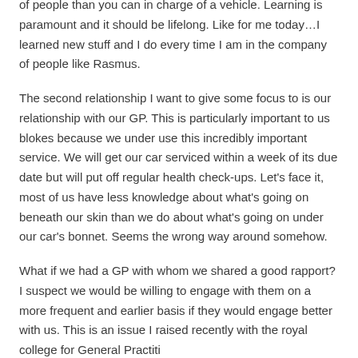of people than you can in charge of a vehicle. Learning is paramount and it should be lifelong. Like for me today…I learned new stuff and I do every time I am in the company of people like Rasmus.
The second relationship I want to give some focus to is our relationship with our GP. This is particularly important to us blokes because we under use this incredibly important service. We will get our car serviced within a week of its due date but will put off regular health check-ups. Let's face it, most of us have less knowledge about what's going on beneath our skin than we do about what's going on under our car's bonnet. Seems the wrong way around somehow.
What if we had a GP with whom we shared a good rapport? I suspect we would be willing to engage with them on a more frequent and earlier basis if they would engage better with us. This is an issue I raised recently with the royal college for General Practitioners.